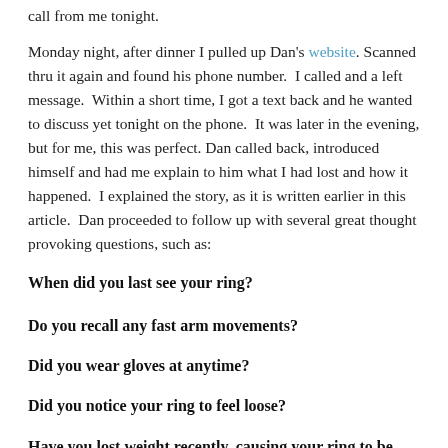call from me tonight.
Monday night, after dinner I pulled up Dan's website. Scanned thru it again and found his phone number. I called and a left message. Within a short time, I got a text back and he wanted to discuss yet tonight on the phone. It was later in the evening, but for me, this was perfect. Dan called back, introduced himself and had me explain to him what I had lost and how it happened. I explained the story, as it is written earlier in this article. Dan proceeded to follow up with several great thought provoking questions, such as:
When did you last see your ring?
Do you recall any fast arm movements?
Did you wear gloves at anytime?
Did you notice your ring to feel loose?
Have you lost weight recently, causing your ring to be